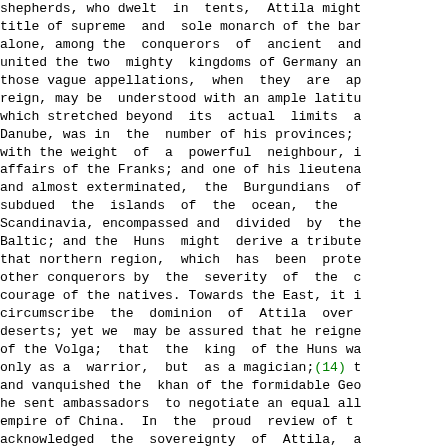shepherds, who dwelt in tents, Attila might title of supreme and sole monarch of the bar alone, among the conquerors of ancient and united the two mighty kingdoms of Germany and those vague appellations, when they are app reign, may be understood with an ample latitu which stretched beyond its actual limits as Danube, was in the number of his provinces; with the weight of a powerful neighbour, i affairs of the Franks; and one of his lieutena and almost exterminated, the Burgundians of subdued the islands of the ocean, the Scandinavia, encompassed and divided by the Baltic; and the Huns might derive a tribute that northern region, which has been protec other conquerors by the severity of the c courage of the natives. Towards the East, it i circumscribe the dominion of Attila over deserts; yet we may be assured that he reigned of the Volga; that the king of the Huns wa only as a warrior, but as a magician;(14) t and vanquished the khan of the formidable Geo he sent ambassadors to negotiate an equal all empire of China. In the proud review of t acknowledged the sovereignty of Attila, a entertained, during his lifetime, the though the Gepidae and the Ostrogoths were distingu numbers, their bravery, and the personal m chiefs. The renowned Ardaric, king of the Ge faithful and sagacious counsellor of the